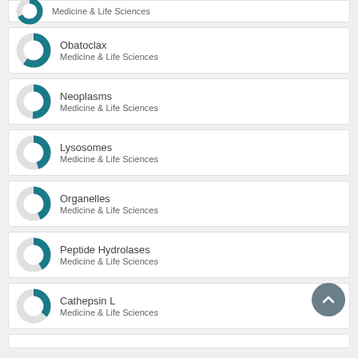Medicine & Life Sciences
Obatoclax
Medicine & Life Sciences
Neoplasms
Medicine & Life Sciences
Lysosomes
Medicine & Life Sciences
Organelles
Medicine & Life Sciences
Peptide Hydrolases
Medicine & Life Sciences
Cathepsin L
Medicine & Life Sciences